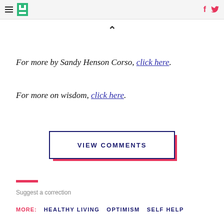HuffPost header with hamburger menu, logo, Facebook and Twitter icons
^
For more by Sandy Henson Corso, click here.
For more on wisdom, click here.
VIEW COMMENTS
Suggest a correction
MORE: HEALTHY LIVING OPTIMISM SELF HELP